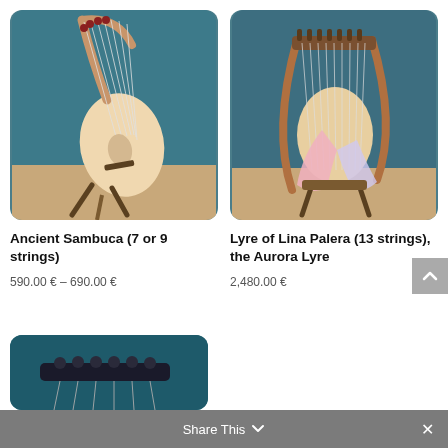[Figure (photo): Ancient Sambuca stringed instrument with 7 or 9 strings, wooden body, standing on a light wood floor against a teal background]
[Figure (photo): Lyre of Lina Palera (Aurora Lyre) with 13 strings, wooden frame with colorful fabric, standing on a light wood floor against a teal background]
Ancient Sambuca (7 or 9 strings)
590.00 € – 690.00 €
Lyre of Lina Palera (13 strings), the Aurora Lyre
2,480.00 €
[Figure (photo): Close-up of a dark-colored lyre or harp instrument against a dark teal background, showing tuning pegs and strings]
Share This